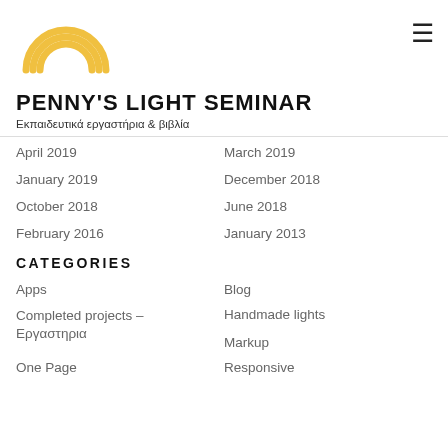[Figure (logo): Rainbow arc logo in golden/yellow color]
PENNY'S LIGHT SEMINAR
Εκπαιδευτικά εργαστήρια & βιβλία
April 2019
March 2019
January 2019
December 2018
October 2018
June 2018
February 2016
January 2013
CATEGORIES
Apps
Blog
Completed projects – Εργαστηρια
Handmade lights
Markup
One Page
Responsive